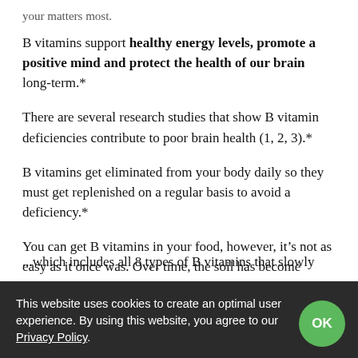your matters most.
B vitamins support healthy energy levels, promote a positive mind and protect the health of our brain long-term.*
There are several research studies that show B vitamin deficiencies contribute to poor brain health (1, 2, 3).*
B vitamins get eliminated from your body daily so they must get replenished on a regular basis to avoid a deficiency.*
You can get B vitamins in your food, however, it’s not as easy as it once was. Over time, the soil has become depleted due to over-farming, causing our food to have fewer vitamins and minerals.*
...which includes all 8 types of B vitamins that slowly release in your body over 8 hours to give you a steady stream of
This website uses cookies to create an optimal user experience. By using this website, you agree to our Privacy Policy.